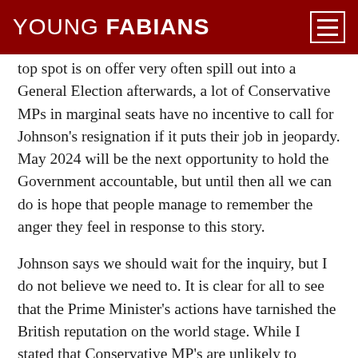YOUNG FABIANS
top spot is on offer very often spill out into a General Election afterwards, a lot of Conservative MPs in marginal seats have no incentive to call for Johnson’s resignation if it puts their job in jeopardy. May 2024 will be the next opportunity to hold the Government accountable, but until then all we can do is hope that people manage to remember the anger they feel in response to this story.
Johnson says we should wait for the inquiry, but I do not believe we need to. It is clear for all to see that the Prime Minister’s actions have tarnished the British reputation on the world stage. While I stated that Conservative MP’s are unlikely to trigger a leadership